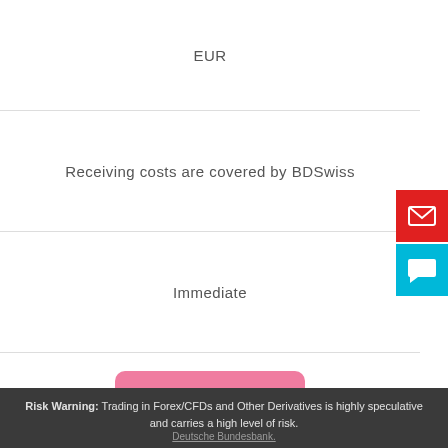EUR
Receiving costs are covered by BDSwiss
Immediate
[Figure (logo): Sofort payment logo — pink/salmon rounded rectangle with white hand making a peace/victory sign and white bold text 'Sofort.' below it]
Risk Warning: Trading in Forex/CFDs and Other Derivatives is highly speculative and carries a high level of risk. Deutsche Bundesbank.